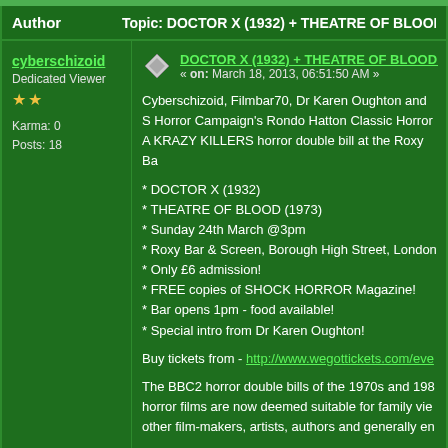Author | Topic: DOCTOR X (1932) + THEATRE OF BLOOD (1973) DOUB
cyberschizoid
Dedicated Viewer
★★
Karma: 0
Posts: 18
DOCTOR X (1932) + THEATRE OF BLOOD (
« on: March 18, 2013, 06:51:50 AM »
Cyberschizoid, Filmbar70, Dr Karen Oughton and S Horror Campaign's Rondo Hatton Classic Horror A KRAZY KILLERS horror double bill at the Roxy Ba
* DOCTOR X (1932)
* THEATRE OF BLOOD (1973)
* Sunday 24th March @3pm
* Roxy Bar & Screen, Borough High Street, London
* Only £6 admission!
* FREE copies of SHOCK HORROR Magazine!
* Bar opens 1pm - food available!
* Special intro from Dr Karen Oughton!
Buy tickets from - http://www.wegottickets.com/eve
The BBC2 horror double bills of the 1970s and 198 horror films are now deemed suitable for family vie other film-makers, artists, authors and generally en
Now you can recapture those halcyon days of the c